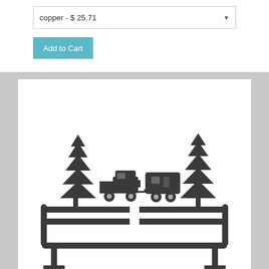copper - $ 25.71
Add to Cart
[Figure (photo): Metal rack/holder with a decorative silhouette topper featuring two pine trees, a pickup truck towing a camper trailer, all in dark metal finish. The rack appears to be a towel or paper towel holder with curved ends.]